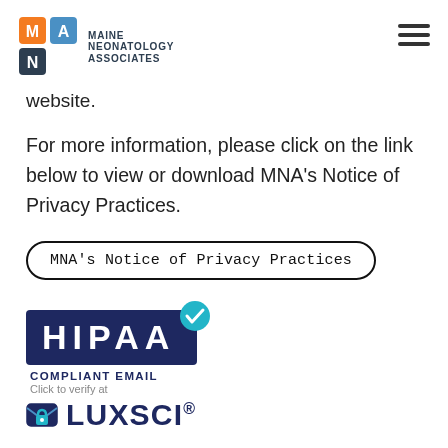Maine Neonatology Associates
website.
For more information, please click on the link below to view or download MNA's Notice of Privacy Practices.
MNA's Notice of Privacy Practices
[Figure (logo): HIPAA Compliant Email badge with LuxSci branding. Shows HIPAA logo in dark navy box with teal checkmark, text COMPLIANT EMAIL, Click to verify at, and LuxSci logo with envelope icon.]